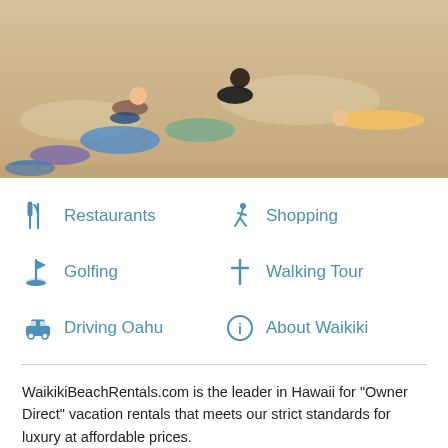[Figure (photo): Beach scene with people sunbathing on sand]
Restaurants
Shopping
Golfing
Walking Tour
Driving Oahu
About Waikiki
WaikikiBeachRentals.com is the leader in Hawaii for "Owner Direct" vacation rentals that meets our strict standards for luxury at affordable prices.
Established in 2009, WaikikiBeachRentals was quickly the #1 rated website for Waikiki Ilikai owners to advertise on and has been the only company that specializes in the